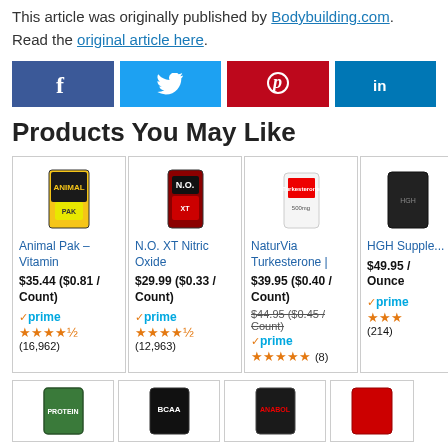This article was originally published by Bodybuilding.com. Read the original article here.
[Figure (infographic): Social media sharing buttons: Facebook (blue), Twitter (light blue), Pinterest (red), LinkedIn (blue)]
Products You May Like
[Figure (infographic): Product card: Animal Pak – Vitamin. Price: $35.44 ($0.81 / Count). Prime eligible. Rating: 4 stars (16,962 reviews). Image shows Animal Pak supplement container.]
[Figure (infographic): Product card: N.O. XT Nitric Oxide. Price: $29.99 ($0.33 / Count). Prime eligible. Rating: 4.5 stars (12,963 reviews). Image shows N.O. XT dark bottle.]
[Figure (infographic): Product card: NaturVia Turkesterone. Price: $39.95 ($0.40 / Count), was $44.95 ($0.45 / Count). Prime eligible. Rating: 5 stars (8 reviews). Image shows white supplement bottle.]
[Figure (infographic): Product card: HGH Supplement. Price: $49.95 / Ounce. Prime eligible. Rating: 3+ stars (214 reviews). Image shows dark supplement container (partially visible).]
[Figure (infographic): Bottom row of product cards showing supplement product images (partially visible): green tub, BCAA container, Anabol dark container, red container.]